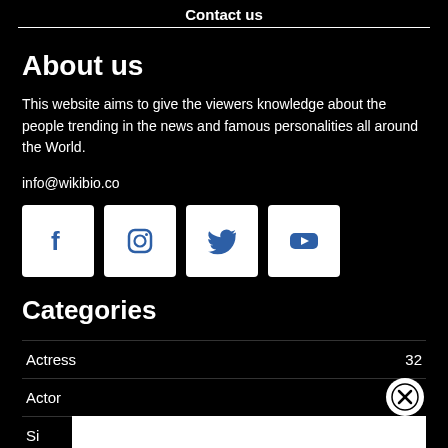Contact us
About us
This website aims to give the viewers knowledge about the people trending in the news and famous personalities all around the World.
info@wikibio.co
[Figure (infographic): Four social media icon buttons: Facebook, Instagram, Twitter, YouTube — white squares with blue icons]
Categories
Actress  32
Actor
Si...  14
Te...  13